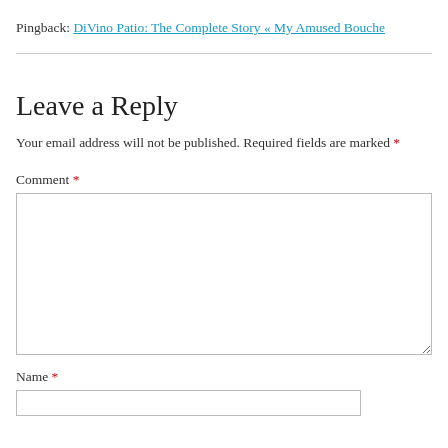Pingback: DiVino Patio: The Complete Story « My Amused Bouche
Leave a Reply
Your email address will not be published. Required fields are marked *
Comment *
Name *